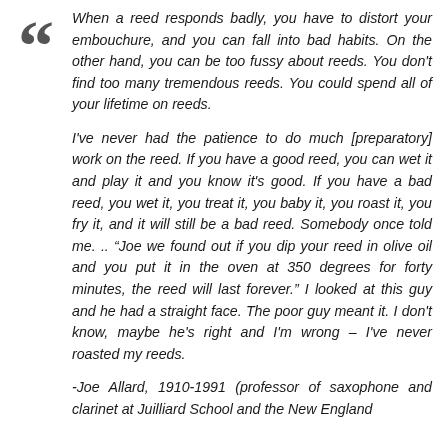When a reed responds badly, you have to distort your embouchure, and you can fall into bad habits. On the other hand, you can be too fussy about reeds. You don't find too many tremendous reeds. You could spend all of your lifetime on reeds.

I've never had the patience to do much [preparatory] work on the reed. If you have a good reed, you can wet it and play it and you know it's good. If you have a bad reed, you wet it, you treat it, you baby it, you roast it, you fry it, and it will still be a bad reed. Somebody once told me. .. "Joe we found out if you dip your reed in olive oil and you put it in the oven at 350 degrees for forty minutes, the reed will last forever." I looked at this guy and he had a straight face. The poor guy meant it. I don't know, maybe he's right and I'm wrong – I've never roasted my reeds.

-Joe Allard, 1910-1991 (professor of saxophone and clarinet at Juilliard School and the New England...